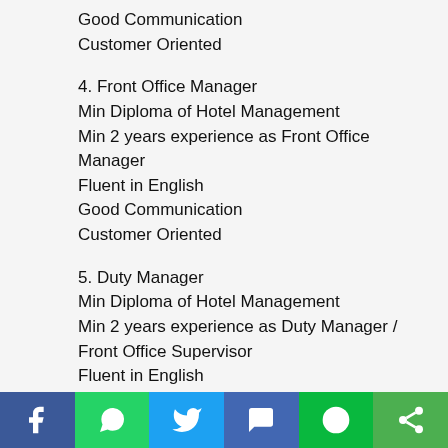Good Communication
Customer Oriented
4. Front Office Manager
Min Diploma of Hotel Management
Min 2 years experience as Front Office Manager
Fluent in English
Good Communication
Customer Oriented
5. Duty Manager
Min Diploma of Hotel Management
Min 2 years experience as Duty Manager / Front Office Supervisor
Fluent in English
Good Communication
Customer Oriented
6. Front Office Administration
Min Diploma of Administration / Hotel...